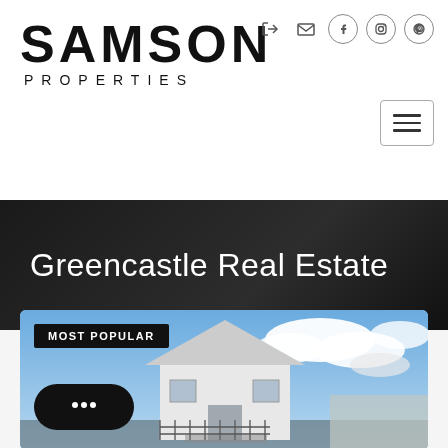[Figure (logo): Samson Properties logo with large SAMSON text and smaller PROPERTIES subtitle]
[Figure (screenshot): Navigation icons: login arrow, envelope, Facebook circle, Instagram circle, Pinterest circle]
[Figure (screenshot): Hamburger menu button with three horizontal lines inside a rounded rectangle border]
Greencastle Real Estate
[Figure (photo): Exterior photo of a white house with a steep gable roof against a blue sky with white clouds. A MOST POPULAR badge is overlaid in the top-left corner. A chat widget with three dots is in the bottom-left corner.]